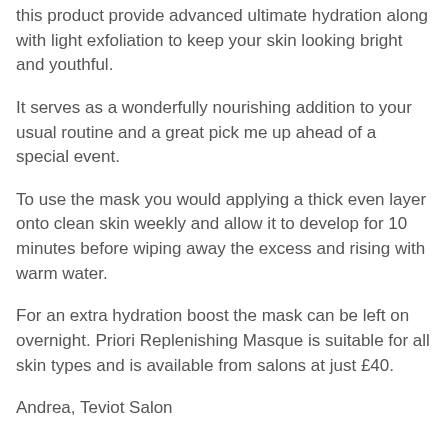this product provide advanced ultimate hydration along with light exfoliation to keep your skin looking bright and youthful.
It serves as a wonderfully nourishing addition to your usual routine and a great pick me up ahead of a special event.
To use the mask you would applying a thick even layer onto clean skin weekly and allow it to develop for 10 minutes before wiping away the excess and rising with warm water.
For an extra hydration boost the mask can be left on overnight. Priori Replenishing Masque is suitable for all skin types and is available from salons at just £40.
Andrea, Teviot Salon